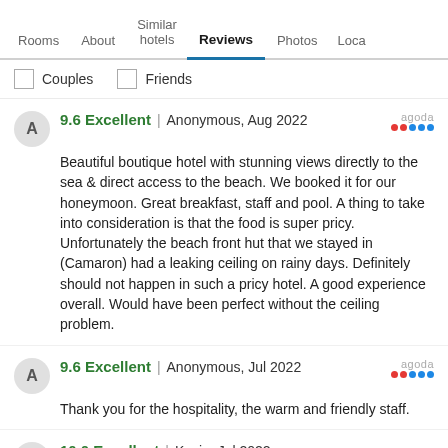Rooms | About | Similar hotels | Reviews | Photos | Loca
Couples   Friends
9.6 Excellent | Anonymous, Aug 2022
Beautiful boutique hotel with stunning views directly to the sea & direct access to the beach. We booked it for our honeymoon. Great breakfast, staff and pool. A thing to take into consideration is that the food is super pricy. Unfortunately the beach front hut that we stayed in (Camaron) had a leaking ceiling on rainy days. Definitely should not happen in such a pricy hotel. A good experience overall. Would have been perfect without the ceiling problem.
9.6 Excellent | Anonymous, Jul 2022
Thank you for the hospitality, the warm and friendly staff.
10.0 Excellent | Kevin, Jul 2022
Pros: Service was exceptional, nothing was too much trouble for the staff. Cannot wait for our next visit.
Cons: We had to come home...